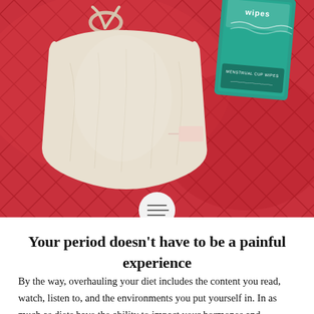[Figure (photo): A cloth drawstring pouch/bag in cream/white color lying on a red quilted/diamond-patterned background, alongside a teal packet labeled 'wipes / menstrual cup wipes' in the upper right corner. A circular icon with hamburger menu lines appears at the bottom center of the image area.]
Your period doesn't have to be a painful experience
By the way, overhauling your diet includes the content you read, watch, listen to, and the environments you put yourself in. In as much as diets have the ability to impact your hormones and ultimately your response to everything internal and external, the other shit you consume can impact you as well. This is especially true for